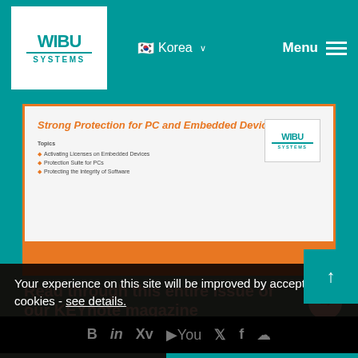WIBU SYSTEMS | Korea | Menu
[Figure (screenshot): Slide preview showing 'Strong Protection for PC and Embedded Devices' with orange title, bullet points about topics, and WIBU SYSTEMS logo on right]
Read through this entire issue of our KEYnote magazine
Your experience on this site will be improved by accepting cookies - see details.
accept only necessary
accept all
[Figure (logo): WIBU SYSTEMS footer logo in dark teal]
Address